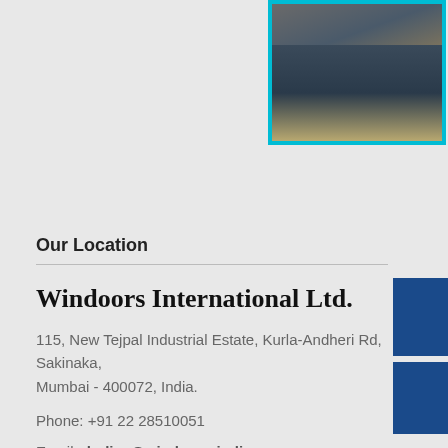[Figure (photo): Photo of a truck or industrial vehicle, partially visible, with a teal/cyan border frame at top right of the page.]
Our Location
Windoors International Ltd.
115, New Tejpal Industrial Estate, Kurla-Andheri Rd, Sakinaka, Mumbai - 400072, India.
Phone: +91 22 28510051
Email: dodias@windoors-india.com